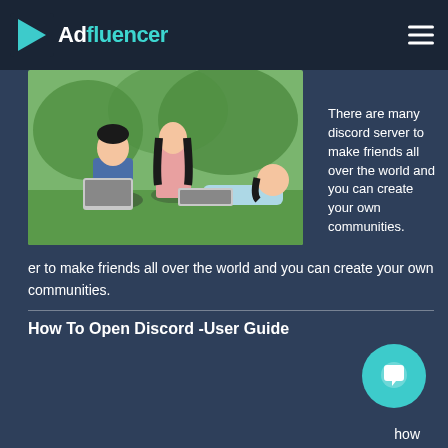Adfluencer — navigation bar with logo and hamburger menu
Types Of Discord Server To Make Friends
Discord Server To Make Friends
[Figure (photo): Three young Asian people sitting on grass outdoors with laptops, smiling]
There are many discord server to make friends all over the world and you can create your own communities.
How To Open Discord -User Guide
Do